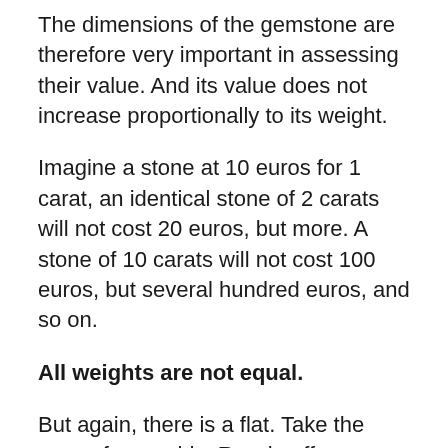The dimensions of the gemstone are therefore very important in assessing their value. And its value does not increase proportionally to its weight.
Imagine a stone at 10 euros for 1 carat, an identical stone of 2 carats will not cost 20 euros, but more. A stone of 10 carats will not cost 100 euros, but several hundred euros, and so on.
All weights are not equal.
But again, there is a flat. Take the case of emeralds. Russia offers a superb quality of emeralds with a beautiful color, so Russian emeralds are highly sought after by collectors for their brilliant color. But we only